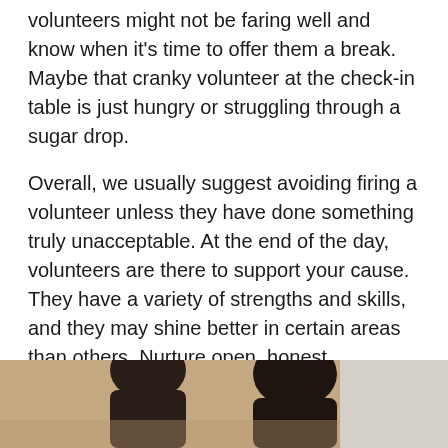volunteers might not be faring well and know when it's time to offer them a break. Maybe that cranky volunteer at the check-in table is just hungry or struggling through a sugar drop.
Overall, we usually suggest avoiding firing a volunteer unless they have done something truly unacceptable. At the end of the day, volunteers are there to support your cause. They have a variety of strengths and skills, and they may shine better in certain areas than others. Nurture open, honest communication with your volunteers and put yourself in their shoes from time to time. Where would they be most comfortable, confident, and pleased? That might just be the perfect spot for them.
[Figure (photo): Bottom portion of a photo showing two people, partially cropped. Dark-haired individuals visible from roughly the shoulders/head area. Warm beige/tan background on the left, lighter gray-white background on the right.]